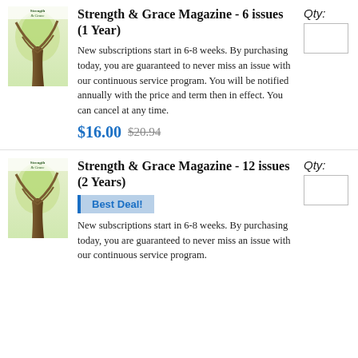[Figure (illustration): Magazine cover for Strength & Grace with a tree illustration]
Strength & Grace Magazine - 6 issues (1 Year)
Qty:
New subscriptions start in 6-8 weeks. By purchasing today, you are guaranteed to never miss an issue with our continuous service program. You will be notified annually with the price and term then in effect. You can cancel at any time.
$16.00 $20.94
[Figure (illustration): Magazine cover for Strength & Grace with a tree illustration]
Strength & Grace Magazine - 12 issues (2 Years)
Qty:
Best Deal!
New subscriptions start in 6-8 weeks. By purchasing today, you are guaranteed to never miss an issue with our continuous service program.